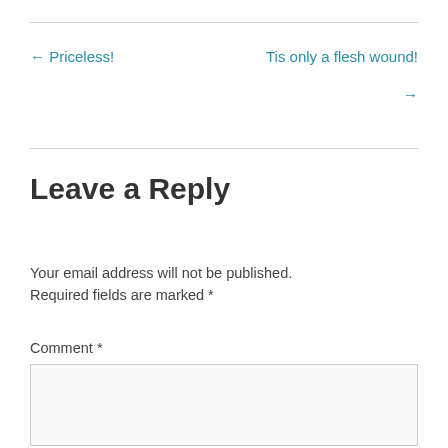← Priceless!
Tis only a flesh wound! →
Leave a Reply
Your email address will not be published. Required fields are marked *
Comment *